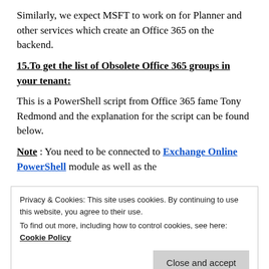Similarly, we expect MSFT to work on for Planner and other services which create an Office 365 on the backend.
15.To get the list of Obsolete Office 365 groups in your tenant:
This is a PowerShell script from Office 365 fame Tony Redmond and the explanation for the script can be found below.
Note : You need to be connected to Exchange Online PowerShell module as well as the
Privacy & Cookies: This site uses cookies. By continuing to use this website, you agree to their use.
To find out more, including how to control cookies, see here: Cookie Policy
detect what groups are underused, so here's a